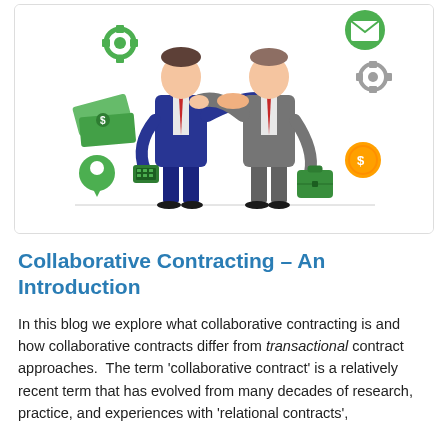[Figure (illustration): Two businessmen in suits shaking hands, surrounded by business icons including a gear, dollar bills, location pin, calculator, briefcase, coin, and email icon. Flat style illustration.]
Collaborative Contracting – An Introduction
In this blog we explore what collaborative contracting is and how collaborative contracts differ from transactional contract approaches.  The term 'collaborative contract' is a relatively recent term that has evolved from many decades of research, practice, and experiences with 'relational contracts',